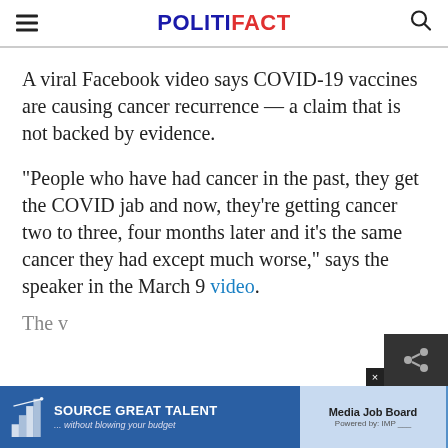POLITIFACT
A viral Facebook video says COVID-19 vaccines are causing cancer recurrence — a claim that is not backed by evidence.
"People who have had cancer in the past, they get the COVID jab and now, they're getting cancer two to three, four months later and it's the same cancer they had except much worse," says the speaker in the March 9 video.
The v